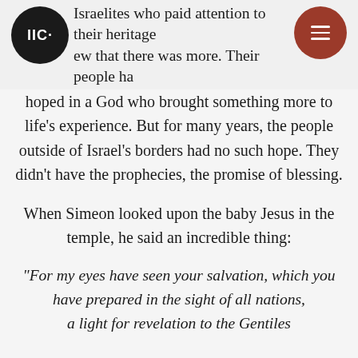Israelites who paid attention to their heritage knew that there was more. Their people ha[d]
hoped in a God who brought something more to life's experience. But for many years, the people outside of Israel's borders had no such hope. They didn't have the prophecies, the promise of blessing.
When Simeon looked upon the baby Jesus in the temple, he said an incredible thing:
“For my eyes have seen your salvation, which you have prepared in the sight of all nations, a light for revelation to the Gentiles